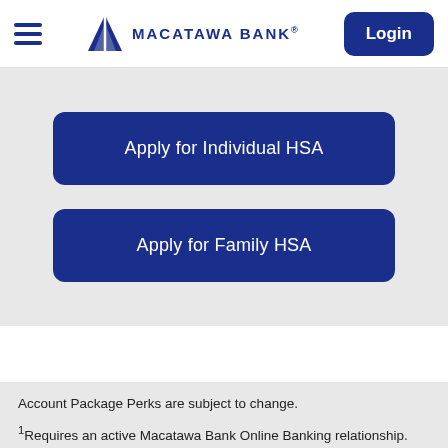MACATAWA BANK
Apply for Individual HSA
Apply for Family HSA
Account Package Perks are subject to change.
1Requires an active Macatawa Bank Online Banking relationship.